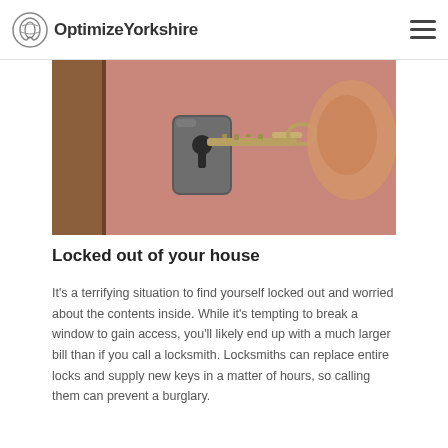OptimizeYorkshire
[Figure (photo): Close-up photograph of a key being inserted into a door lock, with a finger/thumb visible holding the key against a reddish-brown door frame background]
Locked out of your house
It’s a terrifying situation to find yourself locked out and worried about the contents inside. While it’s tempting to break a window to gain access, you’ll likely end up with a much larger bill than if you call a locksmith. Locksmiths can replace entire locks and supply new keys in a matter of hours, so calling them can prevent a burglary.